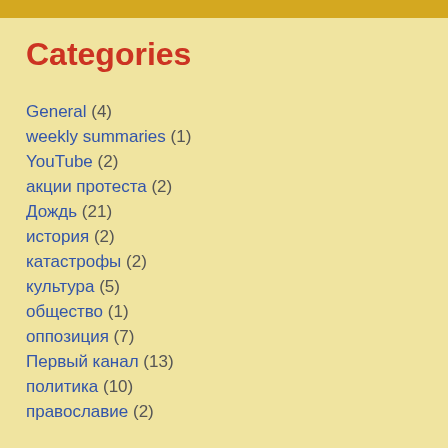Categories
General (4)
weekly summaries (1)
YouTube (2)
акции протеста (2)
Дождь (21)
история (2)
катастрофы (2)
культура (5)
общество (1)
оппозиция (7)
Первый канал (13)
политика (10)
православие (2)